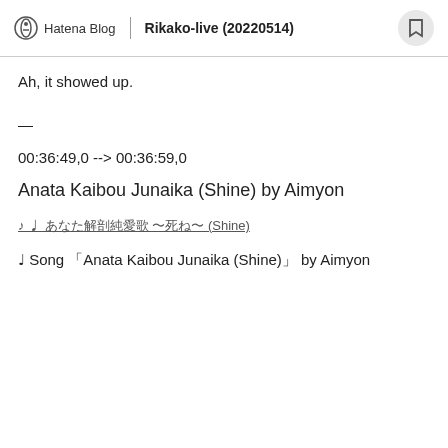Hatena Blog | Rikako-live (20220514)
Ah, it showed up.
—
00:36:49,0 --> 00:36:59,0
Anata Kaibou Junaika (Shine) by Aimyon
♪ ♩ あなた解剖純愛歌 〜死ね〜 (Shine)
♩ Song「Anata Kaibou Junaika (Shine)」by Aimyon